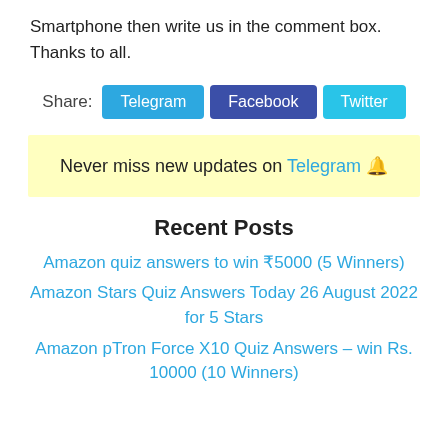Smartphone then write us in the comment box. Thanks to all.
Share: Telegram Facebook Twitter
Never miss new updates on Telegram 🔔
Recent Posts
Amazon quiz answers to win ₹5000 (5 Winners)
Amazon Stars Quiz Answers Today 26 August 2022 for 5 Stars
Amazon pTron Force X10 Quiz Answers – win Rs. 10000 (10 Winners)